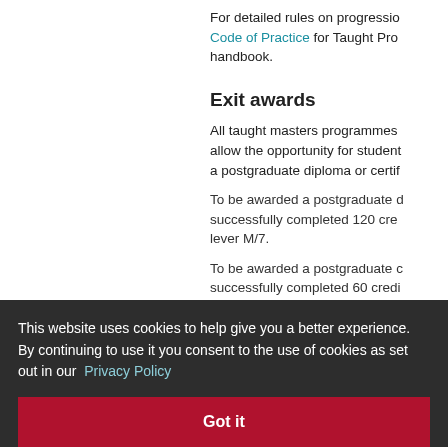For detailed rules on progression, see the Code of Practice for Taught Programmes or your handbook.
Exit awards
All taught masters programmes allow the opportunity for students to exit with a postgraduate diploma or certificate.
To be awarded a postgraduate diploma, you must have successfully completed 120 credits at level M/7.
To be awarded a postgraduate certificate, you must have successfully completed 60 credits...
Degree classifications:
This website uses cookies to help give you a better experience. By continuing to use it you consent to the use of cookies as set out in our Privacy Policy